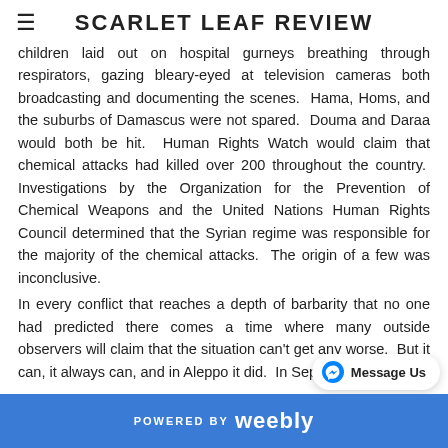SCARLET LEAF REVIEW
children laid out on hospital gurneys breathing through respirators, gazing bleary-eyed at television cameras both broadcasting and documenting the scenes.  Hama, Homs, and the suburbs of Damascus were not spared.  Douma and Daraa would both be hit.  Human Rights Watch would claim that chemical attacks had killed over 200 throughout the country.  Investigations by the Organization for the Prevention of Chemical Weapons and the United Nations Human Rights Council determined that the Syrian regime was responsible for the majority of the chemical attacks.  The origin of a few was inconclusive.
In every conflict that reaches a depth of barbarity that no one had predicted there comes a time where many outside observers will claim that the situation can't get any worse.  But it can, it always can, and in Aleppo it did.  In Septe...
POWERED BY weebly